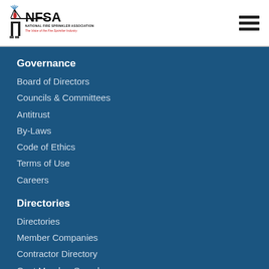[Figure (logo): NFSA National Fire Sprinkler Association logo with tagline 'The Voice of the Fire Sprinkler Industry']
Governance
Board of Directors
Councils & Committees
Antitrust
By-Laws
Code of Ethics
Terms of Use
Careers
Directories
Directories
Member Companies
Contractor Directory
Govt Member Search